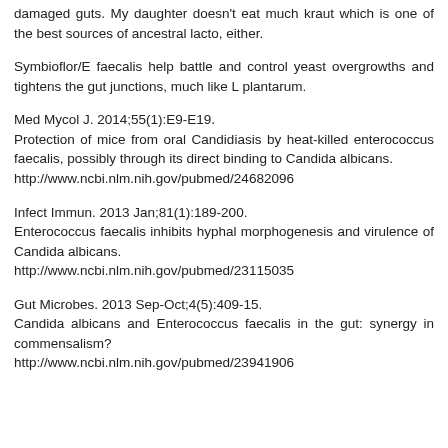A milk good taste can resistance but its not chair for super damaged guts. My daughter doesn't eat much kraut which is one of the best sources of ancestral lacto, either.
Symbioflor/E faecalis help battle and control yeast overgrowths and tightens the gut junctions, much like L plantarum.
Med Mycol J. 2014;55(1):E9-E19.
Protection of mice from oral Candidiasis by heat-killed enterococcus faecalis, possibly through its direct binding to Candida albicans.
http://www.ncbi.nlm.nih.gov/pubmed/24682096
Infect Immun. 2013 Jan;81(1):189-200.
Enterococcus faecalis inhibits hyphal morphogenesis and virulence of Candida albicans.
http://www.ncbi.nlm.nih.gov/pubmed/23115035
Gut Microbes. 2013 Sep-Oct;4(5):409-15.
Candida albicans and Enterococcus faecalis in the gut: synergy in commensalism?
http://www.ncbi.nlm.nih.gov/pubmed/23941906